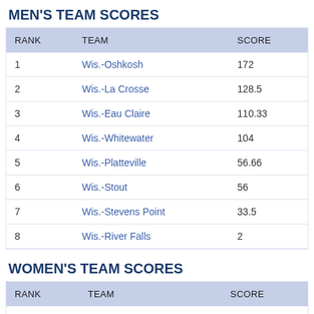MEN'S TEAM SCORES
| RANK | TEAM | SCORE |
| --- | --- | --- |
| 1 | Wis.-Oshkosh | 172 |
| 2 | Wis.-La Crosse | 128.5 |
| 3 | Wis.-Eau Claire | 110.33 |
| 4 | Wis.-Whitewater | 104 |
| 5 | Wis.-Platteville | 56.66 |
| 6 | Wis.-Stout | 56 |
| 7 | Wis.-Stevens Point | 33.5 |
| 8 | Wis.-River Falls | 2 |
WOMEN'S TEAM SCORES
| RANK | TEAM | SCORE |
| --- | --- | --- |
| 1 | Wis.-La Crosse | 244 |